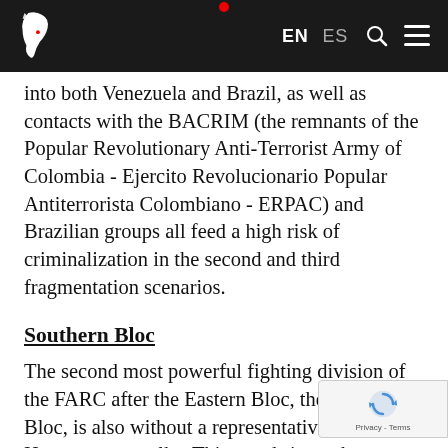EN ES [search] [menu]
into both Venezuela and Brazil, as well as contacts with the BACRIM (the remnants of the Popular Revolutionary Anti-Terrorist Army of Colombia - Ejercito Revolucionario Popular Antiterrorista Colombiano - ERPAC) and Brazilian groups all feed a high risk of criminalization in the second and third fragmentation scenarios.
Southern Bloc
The second most powerful fighting division of the FARC after the Eastern Bloc, the Southern Bloc, is also without a representative at the Havana peace talks. This stands in stark co...